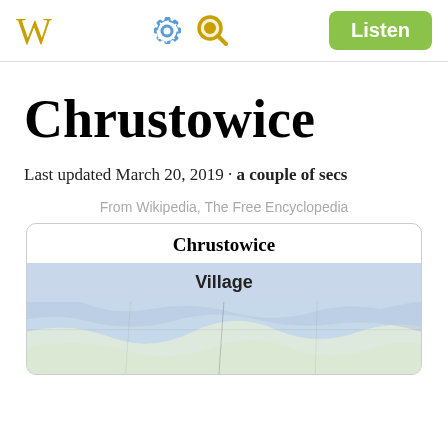W  [gear icon] [search icon]  Listen
Chrustowice
Last updated March 20, 2019 • a couple of secs
From Wikipedia, The Free Encyclopedia
| Chrustowice |
| --- |
| Village |
| [map image] |